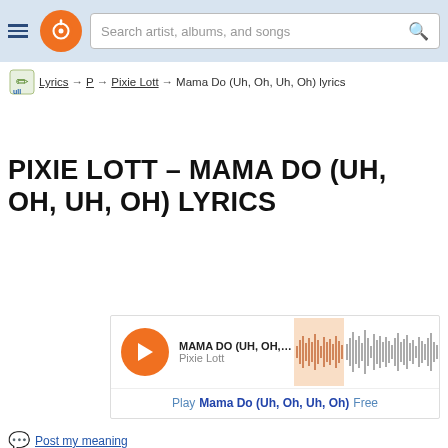Search artist, albums, and songs
Lyrics → P → Pixie Lott → Mama Do (Uh, Oh, Uh, Oh) lyrics
PIXIE LOTT – MAMA DO (UH, OH, UH, OH) LYRICS
[Figure (screenshot): Music player widget showing MAMA DO (UH, OH, UH, ...) by Pixie Lott with orange play button and waveform visualization]
Play Mama Do (Uh, Oh, Uh, Oh) Free
Post my meaning
Request & respond explanations
[Figure (screenshot): YouTube thumbnail showing Pixie Lott - Mama Do (uh oh, uh oh) video with red YouTube play button and Vevo branding]